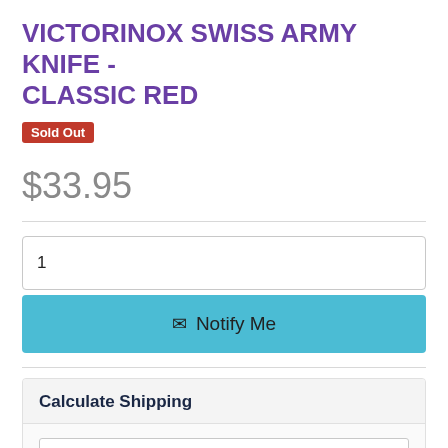VICTORINOX SWISS ARMY KNIFE - CLASSIC RED
Sold Out
$33.95
1
✉ Notify Me
Calculate Shipping
Qty
Australia